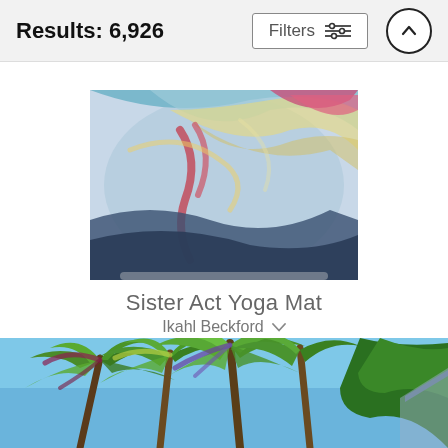Results: 6,926
Filters
[Figure (photo): Product photo of Sister Act Yoga Mat showing colorful abstract painting artwork]
Sister Act Yoga Mat
Ikahl Beckford
$60 (strikethrough) $48
[Figure (photo): Colorful painting of palm trees against a blue sky, partially visible at bottom of page]